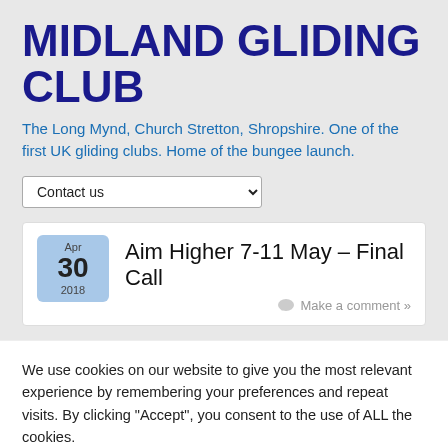MIDLAND GLIDING CLUB
The Long Mynd, Church Stretton, Shropshire. One of the first UK gliding clubs. Home of the bungee launch.
Contact us
Aim Higher 7-11 May – Final Call
Apr 30 2018 · Make a comment »
We use cookies on our website to give you the most relevant experience by remembering your preferences and repeat visits. By clicking "Accept", you consent to the use of ALL the cookies.
Cookie settings
ACCEPT